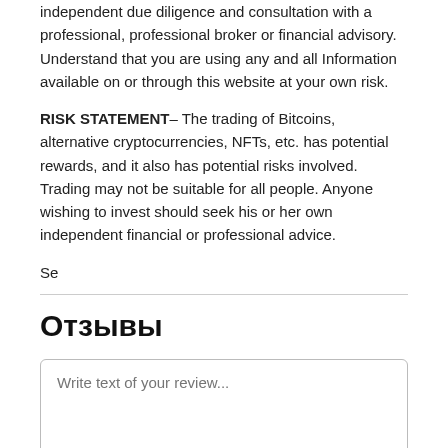independent due diligence and consultation with a professional, professional broker or financial advisory. Understand that you are using any and all Information available on or through this website at your own risk.
RISK STATEMENT– The trading of Bitcoins, alternative cryptocurrencies, NFTs, etc. has potential rewards, and it also has potential risks involved. Trading may not be suitable for all people. Anyone wishing to invest should seek his or her own independent financial or professional advice.
Se
Отзывы
Write text of your review...
SEND